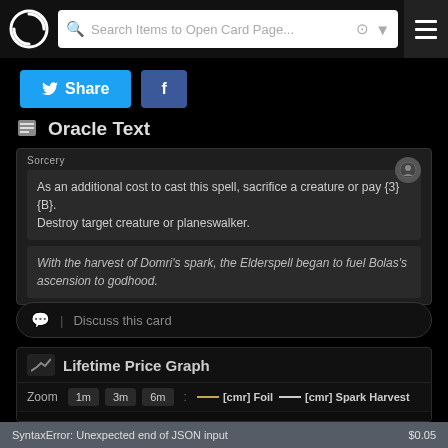Search Items to Open Card Page...
Share  f
Oracle Text
Sorcery
As an additional cost to cast this spell, sacrifice a creature or pay {3}{B}.
Destroy target creature or planeswalker.
With the harvest of Domri's spark, the Elderspell began to fuel Bolas's ascension to godhood.
Discuss this card
Lifetime Price Graph
Zoom  1m  3m  6m  :  — [cmr] Foil  — [cmr] Spark Harvest
[Figure (line-chart): Partial price graph showing two lines: [cmr] Foil (gold) and [cmr] Spark Harvest (white). Only the bottom-left corner of the chart is visible with a small upward curve in gold.]
SyntaxError: Unexpected end of JSON input    $0.05